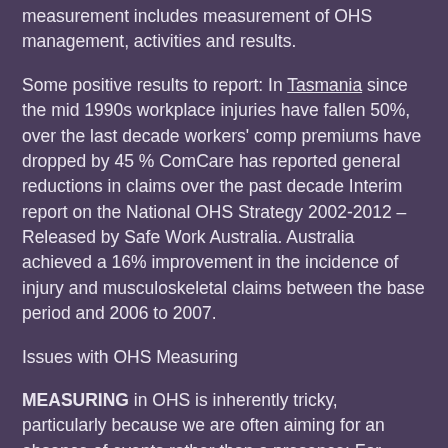measurement includes measurement of OHS management, activities and results.
Some positive results to report: In Tasmania since the mid 1990s workplace injuries have fallen 50%, over the last decade workers' comp premiums have dropped by 45 % ComCare has reported general reductions in claims over the past decade Interim report on the National OHS Strategy 2002-2012 – Released by Safe Work Australia. Australia achieved a 16% improvement in the incidence of injury and musculoskeletal claims between the base period and 2006 to 2007.
Issues with OHS Measuring
MEASURING in OHS is inherently tricky, particularly because we are often aiming for an absence of events rather than a presence: For example, if we measure the number of reported incidents, what is the optimum